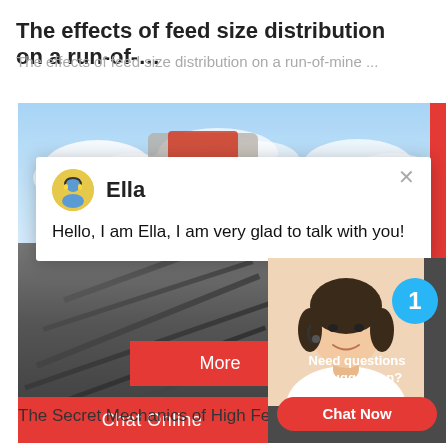The effects of feed size distribution on a run-of-…
The effects of feed size distribution on a run-of-mine ...
[Figure (screenshot): Screenshot of a website showing a mining/crushing equipment page with sky background, machinery image, 'More' and 'Online C...' buttons, and a chat popup from 'Ella' saying 'Hello, I am Ella, I am very glad to talk with you!', plus a customer support widget with notification badge '1', 'Need questions & suggestion?' text, and 'Chat Now' button. A red 'Chat Online' bar is at the bottom.]
The Secret Mechanics of High Feed...